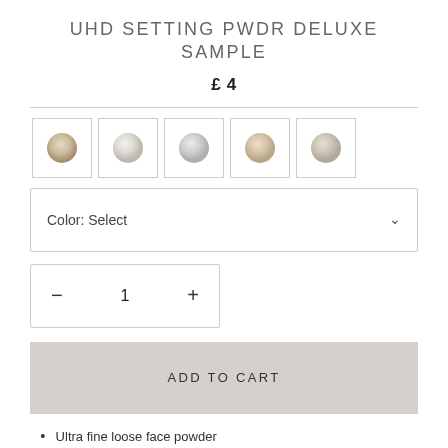UHD SETTING PWDR DELUXE SAMPLE
£4
[Figure (other): Five circular powder shade swatches in small square boxes, ranging from light beige to slightly warmer tones]
Color: Select
− 1 +
ADD TO CART
Ultra fine loose face powder